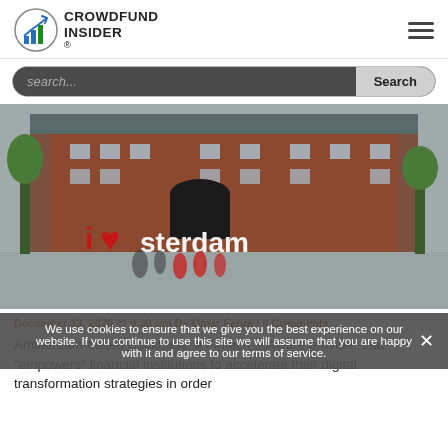[Figure (logo): Crowdfund Insider logo with chart icon and text]
[Figure (photo): Amsterdam cityscape with I Amsterdam sign in front of Rijksmuseum]
We use cookies to ensure that we give you the best experience on our website. If you continue to use this site we will assume that you are happy with it and agree to our terms of service.
December 13, 2020 @ 9:30 pm By Omar Faridi | 0 Comments
Amsterdam-based Backbase, a Fintech software provider that "empowers" financial institutions to accelerate their digital transformation strategies in order